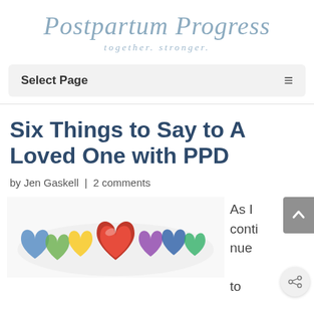Postpartum Progress — together. stronger.
Six Things to Say to A Loved One with PPD
by Jen Gaskell | 2 comments
[Figure (photo): Colorful rainbow hearts made of chalk dust or powder, with a red heart in the center surrounded by multicolored hearts]
As I continue to